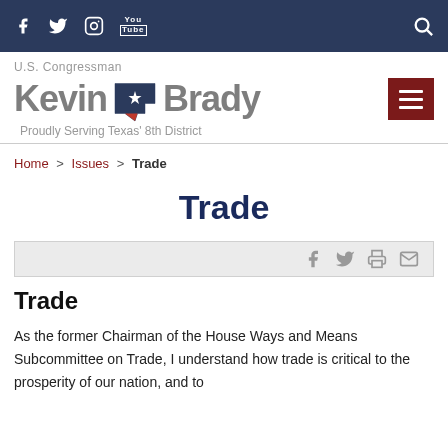Social media icons (Facebook, Twitter, Instagram, YouTube) and search icon on dark navy bar
[Figure (logo): U.S. Congressman Kevin Brady logo with Texas state outline and text 'Proudly Serving Texas' 8th District']
Home > Issues > Trade
Trade
Social share bar with Facebook, Twitter, print, and email icons
Trade
As the former Chairman of the House Ways and Means Subcommittee on Trade, I understand how trade is critical to the prosperity of our nation, and to